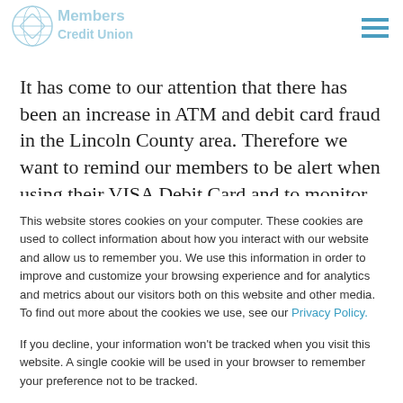[Figure (logo): Members Credit Union logo — shield with globe icon and text 'Members Credit Union' in teal/blue]
It has come to our attention that there has been an increase in ATM and debit card fraud in the Lincoln County area. Therefore we want to remind our members to be alert when using their VISA Debit Card and to monitor their accounts for unusual transactions. If you suspect your MCU VISA Debit Card or ATM card has been compromised, please call
This website stores cookies on your computer. These cookies are used to collect information about how you interact with our website and allow us to remember you. We use this information in order to improve and customize your browsing experience and for analytics and metrics about our visitors both on this website and other media. To find out more about the cookies we use, see our Privacy Policy.
If you decline, your information won't be tracked when you visit this website. A single cookie will be used in your browser to remember your preference not to be tracked.